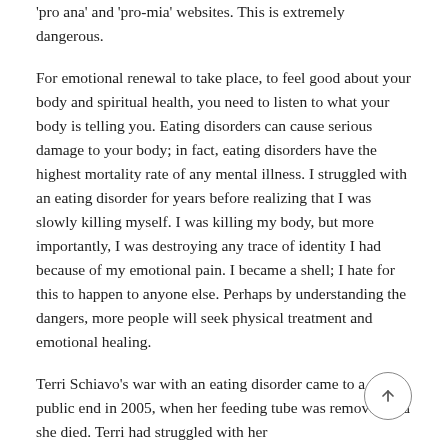'pro ana' and 'pro-mia' websites. This is extremely dangerous.
For emotional renewal to take place, to feel good about your body and spiritual health, you need to listen to what your body is telling you. Eating disorders can cause serious damage to your body; in fact, eating disorders have the highest mortality rate of any mental illness. I struggled with an eating disorder for years before realizing that I was slowly killing myself. I was killing my body, but more importantly, I was destroying any trace of identity I had because of my emotional pain. I became a shell; I hate for this to happen to anyone else. Perhaps by understanding the dangers, more people will seek physical treatment and emotional healing.
Terri Schiavo's war with an eating disorder came to a very public end in 2005, when her feeding tube was removed and she died. Terri had struggled with her